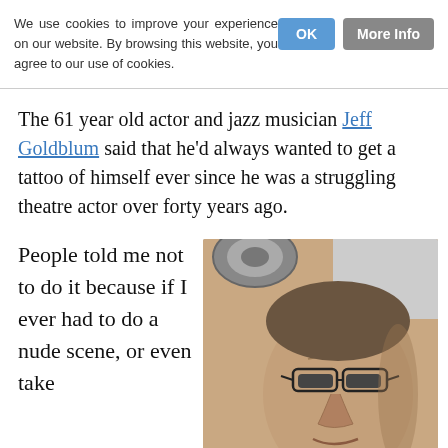We use cookies to improve your experience on our website. By browsing this website, you agree to our use of cookies.
The 61 year old actor and jazz musician Jeff Goldblum said that he'd always wanted to get a tattoo of himself ever since he was a struggling theatre actor over forty years ago.
People told me not to do it because if I ever had to do a nude scene, or even take
[Figure (photo): A photo of a tattoo depicting Jeff Goldblum's face on someone's arm/leg, rendered in realistic black and grey/color style. The tattoo shows a detailed portrait of a man wearing glasses.]